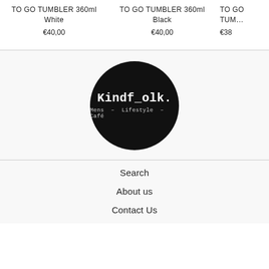TO GO TUMBLER 360ml White €40,00
TO GO TUMBLER 360ml Black €40,00
TO GO TUM... €38
[Figure (logo): Kindf_olk. logo — black circle with white text: Kindf_olk. and Mens - Lifestyle - Cafe]
Search
About us
Contact Us